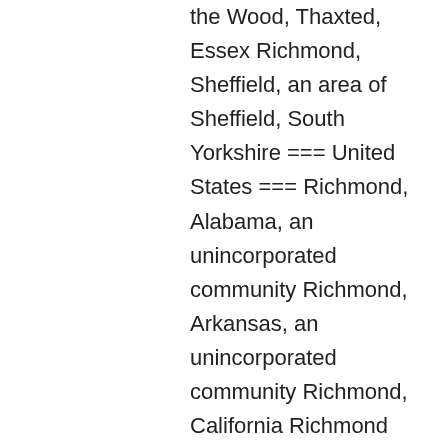the Wood, Thaxted, Essex Richmond, Sheffield, an area of Sheffield, South Yorkshire === United States === Richmond, Alabama, an unincorporated community Richmond, Arkansas, an unincorporated community Richmond, California Richmond District, San Francisco, California Richmond, Illinois, a town Richmond, Indiana Richmond, Kansas Richmond, Kentucky Richmond, Louisiana, a village Richmond, Maine, a New England town Richmond (CDP), Maine, village within the town Richmond, Massachusetts Richmond, Michigan, in Macomb County New Richmond, Michigan, in Allegan County Richmond, Minnesota Richmond, Missouri Richmond, New Hampshire Richmond, New York, a town Richmond, Ohio Richmond, Oregon, a town Richmond, Portland, Oregon, a neighborhood